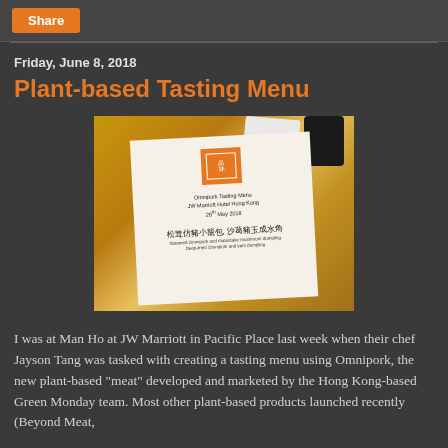Share
Friday, June 8, 2018
Plant-based Tasting Menu
[Figure (photo): A photo of an Omnipork Tasting Menu card on a patterned table at JW Marriott Hotel Hong Kong, 28th May 2018, with Chinese and English text visible on the menu card.]
I was at Man Ho at JW Marriott in Pacific Place last week when their chef Jayson Tang was tasked with creating a tasting menu using Omnipork, the new plant-based “meat” developed and marketed by the Hong Kong-based Green Monday team. Most other plant-based products launched recently (Beyond Meat,